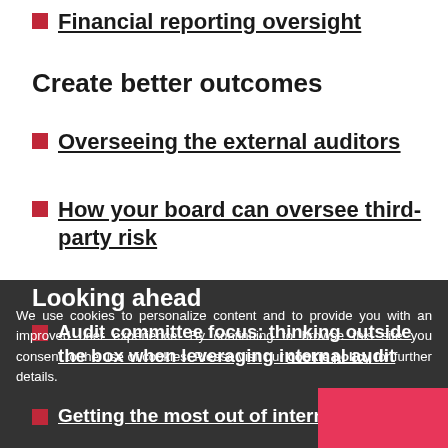Financial reporting oversight
Create better outcomes
Overseeing the external auditors
How your board can oversee third-party risk
Looking ahead
Audit committee focus: thinking outside the box when leveraging internal audit
Getting the most out of internal audit
We use cookies to personalize content and to provide you with an improved user experience. By continuing to browse this site you consent to the use of cookies. Please visit our cookie policy for further details.